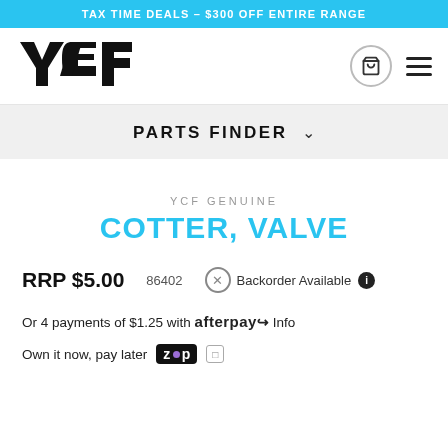TAX TIME DEALS - $300 OFF ENTIRE RANGE
[Figure (logo): YCF brand logo in bold stylized text]
PARTS FINDER
YCF GENUINE
COTTER, VALVE
RRP $5.00   86402   Backorder Available
Or 4 payments of $1.25 with afterpay Info
Own it now, pay later Zip